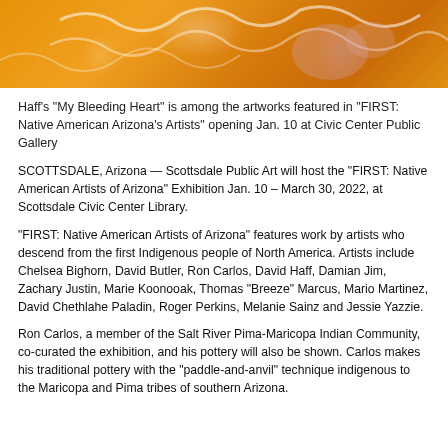[Figure (photo): Abstract painting with orange/amber background and white and pink brushstrokes, partial view cropped at top]
Haff’s “My Bleeding Heart” is among the artworks featured in “FIRST: Native American Arizona’s Artists” opening Jan. 10 at Civic Center Public Gallery
SCOTTSDALE, Arizona — Scottsdale Public Art will host the “FIRST: Native American Artists of Arizona” Exhibition Jan. 10 – March 30, 2022, at Scottsdale Civic Center Library.
“FIRST: Native American Artists of Arizona” features work by artists who descend from the first Indigenous people of North America. Artists include Chelsea Bighorn, David Butler, Ron Carlos, David Haff, Damian Jim, Zachary Justin, Marie Koonooak, Thomas “Breeze” Marcus, Mario Martinez, David Chethlahe Paladin, Roger Perkins, Melanie Sainz and Jessie Yazzie.
Ron Carlos, a member of the Salt River Pima-Maricopa Indian Community, co-curated the exhibition, and his pottery will also be shown. Carlos makes his traditional pottery with the “paddle-and-anvil” technique indigenous to the Maricopa and Pima tribes of southern Arizona.